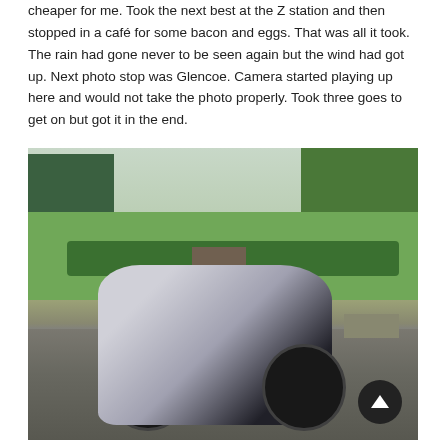cheaper for me. Took the next best at the Z station and then stopped in a café for some bacon and eggs. That was all it took. The rain had gone never to be seen again but the wind had got up. Next photo stop was Glencoe. Camera started playing up here and would not take the photo properly. Took three goes to get on but got it in the end.
[Figure (photo): A BMW K1600 touring motorcycle parked on a gravel area at Glencoe, Scotland. Background shows lush green grass, hedgerows, a stone gate/entrance, and trees. Overcast sky. A picnic bench is visible to the right.]